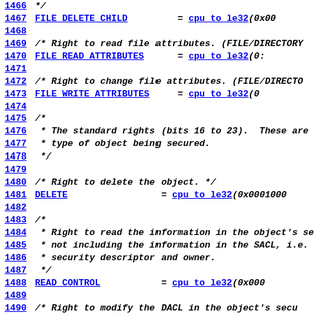1466  */
1467  FILE_DELETE_CHILD = cpu_to_le32(0x00...
1468  (blank)
1469  /* Right to read file attributes. (FILE/DIRECTORY...
1470  FILE_READ_ATTRIBUTES = cpu_to_le32(0x...
1471  (blank)
1472  /* Right to change file attributes. (FILE/DIRECTO...
1473  FILE_WRITE_ATTRIBUTES = cpu_to_le32(0...
1474  (blank)
1475  /*
1476   * The standard rights (bits 16 to 23). These are...
1477   * type of object being secured.
1478   */
1479  (blank)
1480  /* Right to delete the object. */
1481  DELETE = cpu_to_le32(0x00010000...
1482  (blank)
1483  /*
1484   * Right to read the information in the object's se...
1485   * not including the information in the SACL, i.e....
1486   * security descriptor and owner.
1487   */
1488  READ_CONTROL = cpu_to_le32(0x000...
1489  (blank)
1490  /* Right to modify the DACL in the object's secu...